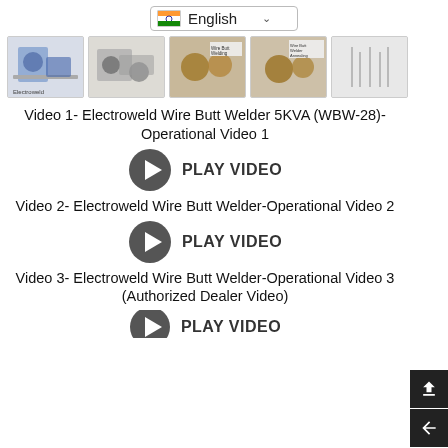[Figure (screenshot): Language selector dropdown showing Indian flag and English text]
[Figure (screenshot): Row of 5 product/video thumbnail images of wire butt welding machines]
Video 1- Electroweld Wire Butt Welder 5KVA (WBW-28)-Operational Video 1
[Figure (other): Play video button with circular play icon and PLAY VIDEO text]
Video 2- Electroweld Wire Butt Welder-Operational Video 2
[Figure (other): Play video button with circular play icon and PLAY VIDEO text]
Video 3- Electroweld Wire Butt Welder-Operational Video 3 (Authorized Dealer Video)
[Figure (other): Partial play video button visible at bottom of page]